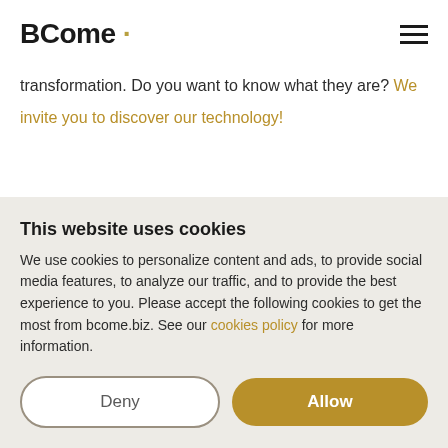BCome ·
transformation. Do you want to know what they are? We invite you to discover our technology!
This website uses cookies
We use cookies to personalize content and ads, to provide social media features, to analyze our traffic, and to provide the best experience to you. Please accept the following cookies to get the most from bcome.biz. See our cookies policy for more information.
Deny | Allow